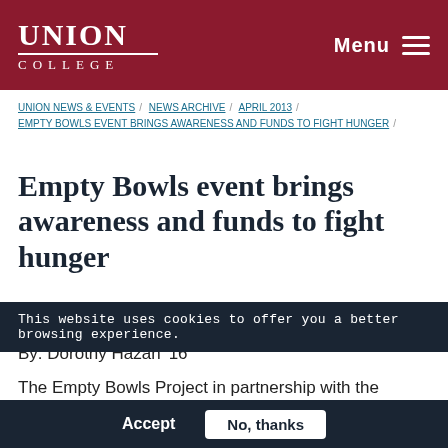UNION COLLEGE
UNION NEWS & EVENTS / NEWS ARCHIVE / APRIL 2013 / EMPTY BOWLS EVENT BRINGS AWARENESS AND FUNDS TO FIGHT HUNGER /
Empty Bowls event brings awareness and funds to fight hunger
April 25, 2013
By: Dorothy Hazan '16
The Empty Bowls Project in partnership with the Kenney Community Center will host a fundraiser
This website uses cookies to offer you a better browsing experience.
Accept    No, thanks